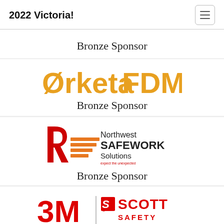2022 Victoria!
Bronze Sponsor
[Figure (logo): Orketa FDMS logo in orange/gold color]
Bronze Sponsor
[Figure (logo): Northwest SAFEWORK Solutions logo with red swoosh and orange horizontal lines]
Bronze Sponsor
[Figure (logo): 3M | Scott Safety logo in red]
Bronze Sponsor